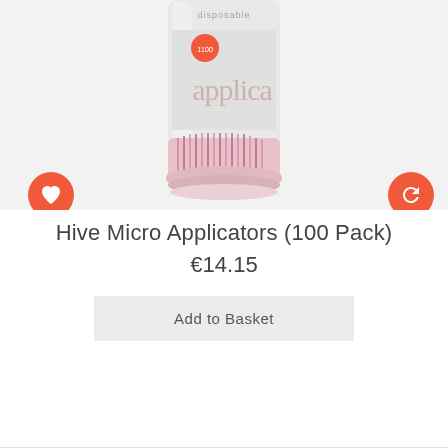[Figure (photo): Product photo of Hive Micro Applicators (100 Pack) — a cylindrical container with pink micro applicator brushes, partially showing the word 'disposable' and 'applica' on the label, with an orange circular badge showing '1100'.]
Hive Micro Applicators (100 Pack)
€14.15
Add to Basket